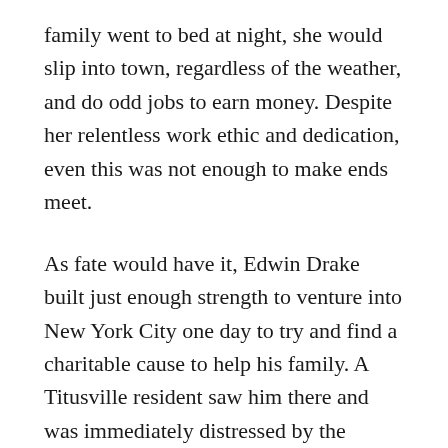family went to bed at night, she would slip into town, regardless of the weather, and do odd jobs to earn money. Despite her relentless work ethic and dedication, even this was not enough to make ends meet.
As fate would have it, Edwin Drake built just enough strength to venture into New York City one day to try and find a charitable cause to help his family. A Titusville resident saw him there and was immediately distressed by the Colonel's condition. Upon returning home, the resident helped raise $4,200 for the family. Laura Drake oversaw the money and used it to keep the family alive. Thanks to the kindness of the Titusville community and the management of Laura